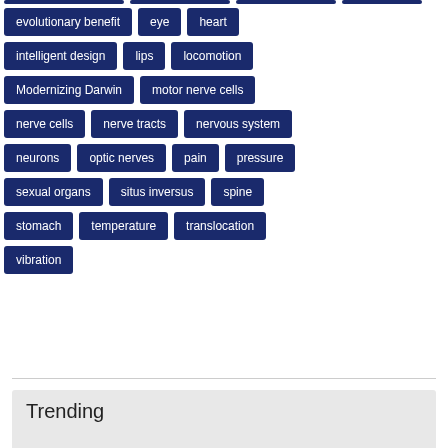evolutionary benefit
eye
heart
intelligent design
lips
locomotion
Modernizing Darwin
motor nerve cells
nerve cells
nerve tracts
nervous system
neurons
optic nerves
pain
pressure
sexual organs
situs inversus
spine
stomach
temperature
translocation
vibration
Trending